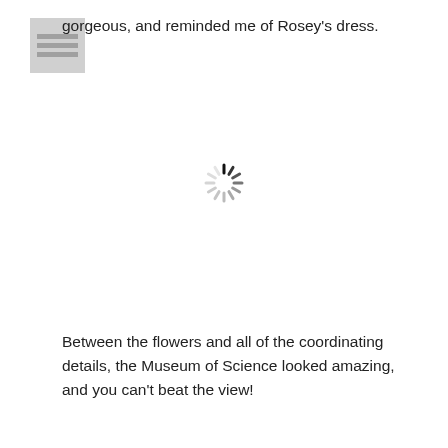[Figure (other): Small grey document/menu icon with three horizontal lines]
gorgeous, and reminded me of Rosey's dress.
[Figure (other): Loading spinner icon — circular arrangement of short radial dashes in black and grey]
Between the flowers and all of the coordinating details, the Museum of Science looked amazing, and you can't beat the view!